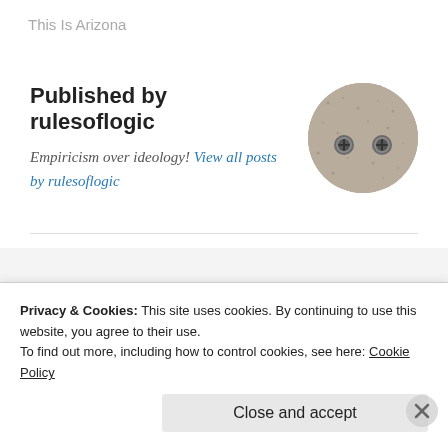This Is Arizona
Published by rulesoflogic
Empiricism over ideology! View all posts by rulesoflogic
[Figure (photo): Circular avatar photo showing a close-up of carpet or fabric texture with two small metal bolt-like objects visible]
‹ Earworm Saturday
Monday Musings 64 ›
Privacy & Cookies: This site uses cookies. By continuing to use this website, you agree to their use.
To find out more, including how to control cookies, see here: Cookie Policy
Close and accept